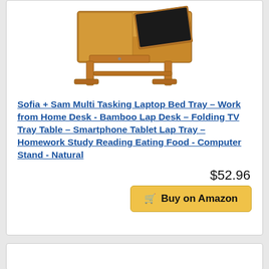[Figure (photo): Bamboo laptop bed tray with folding legs, drawer, and tilted top surface for laptop use]
Sofia + Sam Multi Tasking Laptop Bed Tray – Work from Home Desk - Bamboo Lap Desk – Folding TV Tray Table – Smartphone Tablet Lap Tray – Homework Study Reading Eating Food - Computer Stand - Natural
$52.96
Buy on Amazon